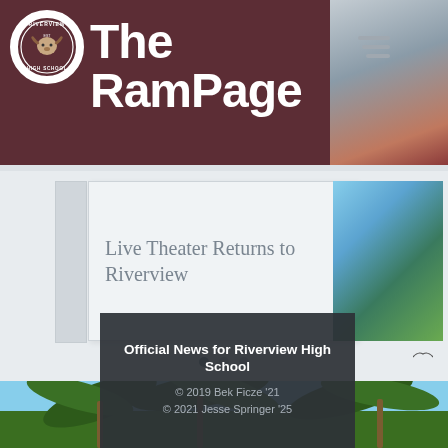[Figure (logo): Riverview High School circular logo with ram mascot]
The RamPage
[Figure (photo): Partial photo in top right corner showing a person]
Live Theater Returns to Riverview
[Figure (photo): Palm trees against blue sky background]
Official News for Riverview High School
© 2019 Bek Ficze '21
© 2021 Jesse Springer '25